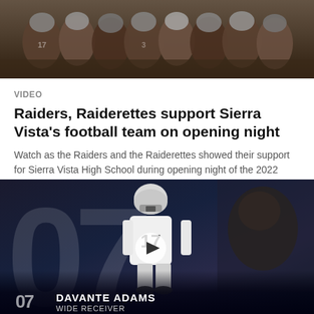[Figure (photo): Football players on a field, multiple athletes crouching or kneeling during practice or warm-up]
VIDEO
Raiders, Raiderettes support Sierra Vista's football team on opening night
Watch as the Raiders and the Raiderettes showed their support for Sierra Vista High School during opening night of the 2022 football season.
[Figure (screenshot): Video thumbnail showing Raiders player #17 with a play button overlay and Davante Adams name plate at the bottom reading '07 DAVANTE ADAMS WIDE RECEIVER']